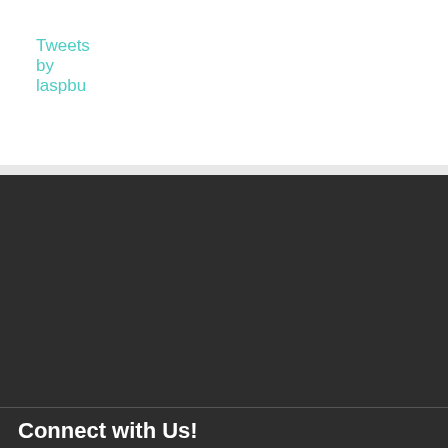Tweets by laspbu
Connect with Us!
[Figure (map): Google Maps screenshot showing Boston University area, Kenmore Square, Storrow Drive, Charles River, Blandford Street, Hynes Convention Center, Fenway Park, Lansdowne, Landwer, Muddy River, Cafe Sauva areas with pins and transit markers]